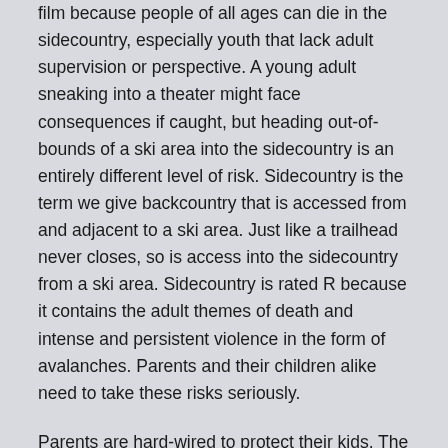film because people of all ages can die in the sidecountry, especially youth that lack adult supervision or perspective. A young adult sneaking into a theater might face consequences if caught, but heading out-of-bounds of a ski area into the sidecountry is an entirely different level of risk. Sidecountry is the term we give backcountry that is accessed from and adjacent to a ski area. Just like a trailhead never closes, so is access into the sidecountry from a ski area. Sidecountry is rated R because it contains the adult themes of death and intense and persistent violence in the form of avalanches. Parents and their children alike need to take these risks seriously.
Parents are hard-wired to protect their kids. The good ones give curfews, set bed times, ask about friends, know where they are going and with whom, set parental internet controls, teach sex ed, discuss social media, meet teachers and do whatever it takes to guide their children safely toward independence. But after a parent waves goodbye in the ski area parking lot, they have lost the kids...